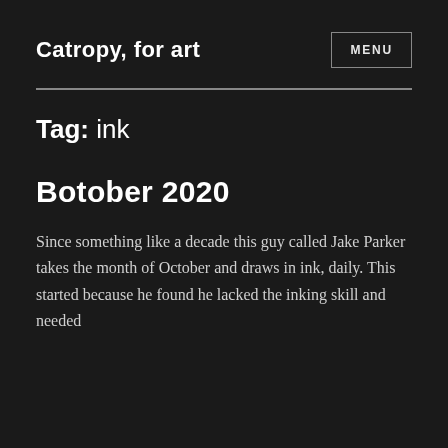Catropy, for art
Tag: ink
Botober 2020
Since something like a decade this guy called Jake Parker takes the month of October and draws in ink, daily. This started because he found he lacked the inking skill and needed